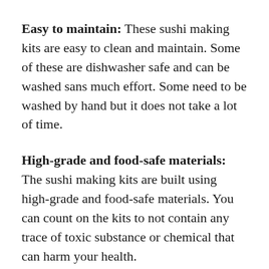Easy to maintain: These sushi making kits are easy to clean and maintain. Some of these are dishwasher safe and can be washed sans much effort. Some need to be washed by hand but it does not take a lot of time.
High-grade and food-safe materials: The sushi making kits are built using high-grade and food-safe materials. You can count on the kits to not contain any trace of toxic substance or chemical that can harm your health.
Maintenance and Care tips